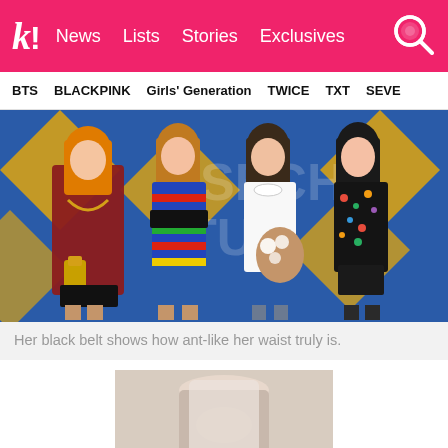k! News  Lists  Stories  Exclusives
BTS  BLACKPINK  Girls' Generation  TWICE  TXT  SEVE
[Figure (photo): Four members of BLACKPINK posing at an awards show in front of a blue and gold diamond-patterned backdrop. From left: Lisa in red plaid with orange hair, Rosé in colorful striped dress with black belt, Jennie holding flowers in white bow blouse, Jisoo in black floral top.]
Her black belt shows how ant-like her waist truly is.
[Figure (photo): Close-up photo showing a person's midsection/waist area, partially visible at the bottom of the page.]